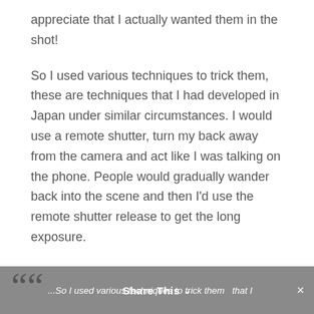appreciate that I actually wanted them in the shot!
So I used various techniques to trick them, these are techniques that I had developed in Japan under similar circumstances. I would use a remote shutter, turn my back away from the camera and act like I was talking on the phone. People would gradually wander back into the scene and then I'd use the remote shutter release to get the long exposure.
...So I used various techniques to trick them  that I   Share This ×